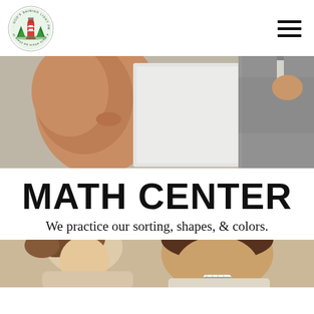[Figure (logo): God's Shining Light Preschool circular logo with lighthouse and trees]
[Figure (photo): Close-up of two children looking at a white piece of paper together, one child's face profile visible on left, the other child's hand and grey sleeve visible on right]
MATH CENTER
We practice our sorting, shapes, & colors.
[Figure (photo): Bottom portion of photo showing two people leaning over a table, one appears to be a child with curly hair, the other an adult smiling with braces]